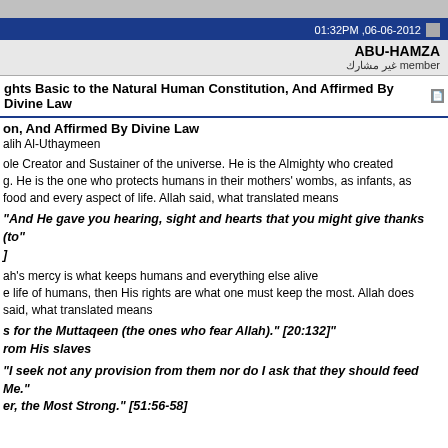01:32PM ,06-06-2012
ABU-HAMZA
مember غير مشارك
ghts Basic to the Natural Human Constitution, And Affirmed By Divine Law
on, And Affirmed By Divine Law
alih Al-Uthaymeen
ole Creator and Sustainer of the universe. He is the Almighty who created g. He is the one who protects humans in their mothers' wombs, as infants, as food and every aspect of life. Allah said, what translated means
"And He gave you hearing, sight and hearts that you might give thanks (to"
]
ah's mercy is what keeps humans and everything else alive
e life of humans, then His rights are what one must keep the most. Allah does said, what translated means
s for the Muttaqeen (the ones who fear Allah)." [20:132]"
rom His slaves
"I seek not any provision from them nor do I ask that they should feed Me."
er, the Most Strong." [51:56-58]